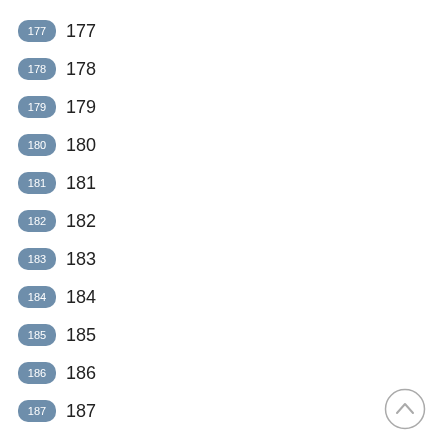177 177
178 178
179 179
180 180
181 181
182 182
183 183
184 184
185 185
186 186
187 187